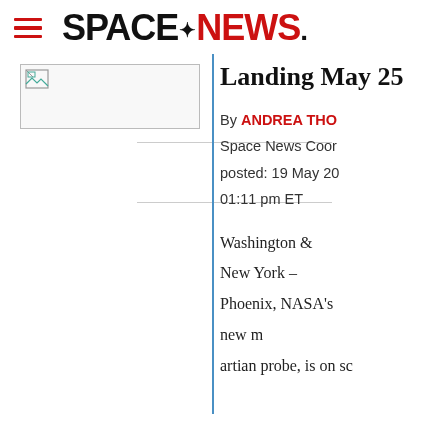SPACENEWS
Landing May 25
By ANDREA THO
Space News Coor
posted: 19 May 20
01:11 pm ET
[Figure (photo): Image placeholder with broken image icon in upper-left of left column]
Washington & New York – Phoenix, NASA's new m artian probe, is on sc